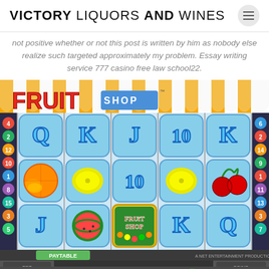VICTORY LIQUORS AND WINES
not positive whether or not this post is written by him as nobody else realize such targeted approximately my problem. Essay writing service 777 casino free law school22.
[Figure (screenshot): Fruit Shop slot machine game screenshot showing game reels with fruit symbols (orange, lemon, watermelon, cherry), card symbols (Q, K, J, 10), a Fruit Shop wild symbol, paytable, bet controls showing BET 15, COINS 50000, BET LEVEL 1, COIN VALUE 0.10, AUTOPLAY and MAX BET buttons, and 'Wins in Free Spins pay x2' message.]